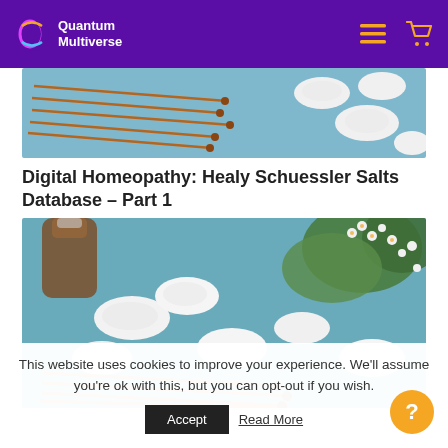Quantum Multiverse
[Figure (photo): Partial view of homeopathy items: copper acupuncture needles and white round tablets on a light blue background]
Digital Homeopathy: Healy Schuessler Salts Database – Part 1
[Figure (photo): Homeopathy scene: white round tablets spilling from a brown glass bottle, with green herbs and small white flowers on a blue background, and copper needles in the foreground]
This website uses cookies to improve your experience. We'll assume you're ok with this, but you can opt-out if you wish.